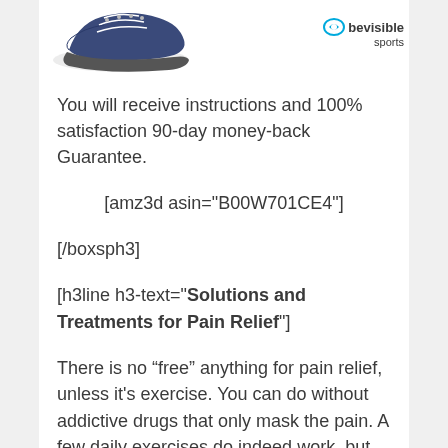[Figure (photo): Partial view of blue sneakers/shoes at top left, and a hand/logo for 'bevisible sports' brand at top right]
You will receive instructions and 100% satisfaction 90-day money-back Guarantee.
[amz3d asin="B00W701CE4"]
[/boxsph3]
[h3line h3-text="Solutions and Treatments for Pain Relief"]
There is no “free” anything for pain relief, unless it's exercise. You can do without addictive drugs that only mask the pain. A few daily exercises do indeed work, but